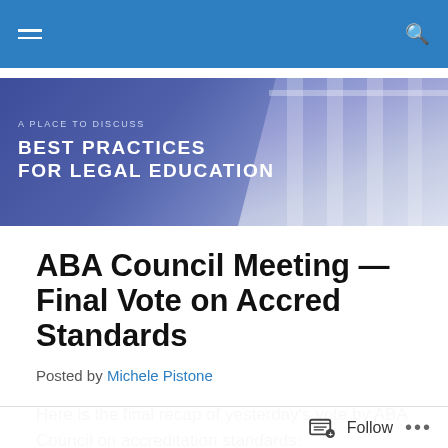Navigation bar with hamburger menu and search icon
[Figure (illustration): Banner image with purple/blue gradient background showing classical columns on the right side. Text reads: 'A Place To Discuss / Best Practices For Legal Education']
ABA Council Meeting — Final Vote on Accred Standards
Posted by Michele Pistone
Here is the final recap of yesterday's vote by ABA Council on accreditation standards:
The most significant of the proposed changes would
Follow  •••